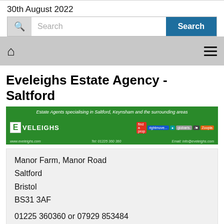30th August 2022
[Figure (screenshot): Search bar with magnifying glass icon and Search button]
[Figure (screenshot): Navigation bar with home icon and hamburger menu icon]
Eveleighs Estate Agency - Saltford
[Figure (logo): Eveleighs green estate agency banner with tagline and portal badges]
Manor Farm, Manor Road
Saltford
Bristol
BS31 3AF

01225 360360 or 07929 853484